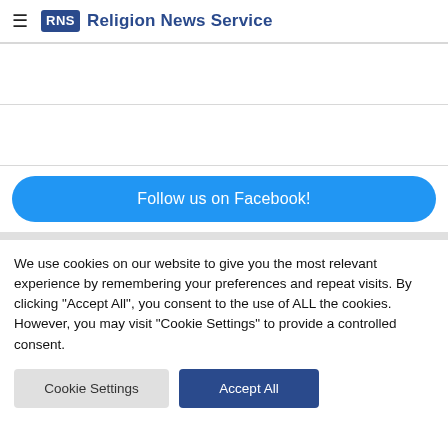RNS Religion News Service
Follow us on Facebook!
We use cookies on our website to give you the most relevant experience by remembering your preferences and repeat visits. By clicking "Accept All", you consent to the use of ALL the cookies. However, you may visit "Cookie Settings" to provide a controlled consent.